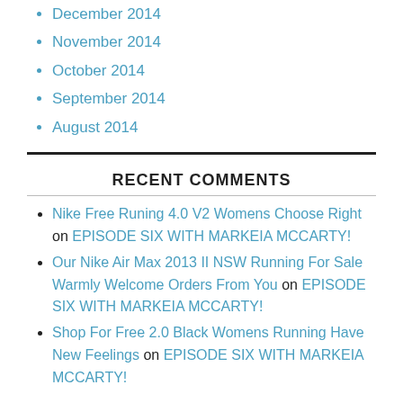December 2014
November 2014
October 2014
September 2014
August 2014
RECENT COMMENTS
Nike Free Runing 4.0 V2 Womens Choose Right on EPISODE SIX WITH MARKEIA MCCARTY!
Our Nike Air Max 2013 II NSW Running For Sale Warmly Welcome Orders From You on EPISODE SIX WITH MARKEIA MCCARTY!
Shop For Free 2.0 Black Womens Running Have New Feelings on EPISODE SIX WITH MARKEIA MCCARTY!